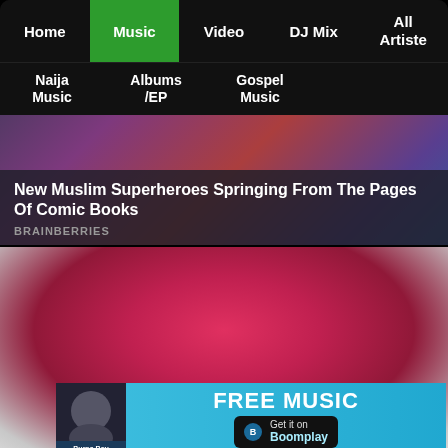Home | Music | Video | DJ Mix | All Artiste
Naija Music | Albums /EP | Gospel Music
[Figure (photo): Colorful comic book superheroes illustration background]
New Muslim Superheroes Springing From The Pages Of Comic Books
BRAINBERRIES
[Figure (photo): Close-up of a red berry smoothie in a glass, with pomegranate pieces visible on the side]
[Figure (infographic): Boomplay FREE MUSIC advertisement banner with Burna Boy thumbnail and 'Get it on Boomplay' button]
This Is So Good! What Else Can You Put In A Smoothie?